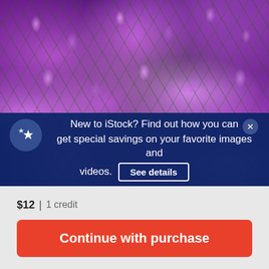[Figure (photo): Close-up photograph of purple/violet small flowers (phlox) covering the entire frame, with green stems and leaves visible between blooms]
New to iStock? Find out how you can get special savings on your favorite images and videos.
See details
$12 | 1 credit
Continue with purchase